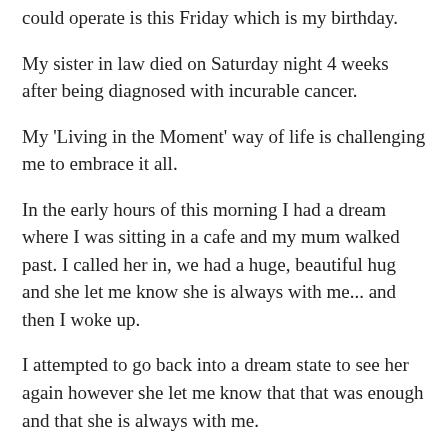could operate is this Friday which is my birthday.
My sister in law died on Saturday night 4 weeks after being diagnosed with incurable cancer.
My 'Living in the Moment' way of life is challenging me to embrace it all.
In the early hours of this morning I had a dream where I was sitting in a cafe and my mum walked past. I called her in, we had a huge, beautiful hug and she let me know she is always with me... and then I woke up.
I attempted to go back into a dream state to see her again however she let me know that that was enough and that she is always with me.
Since she died 4½ years ago I so wanted her to present in physical form like this, just like the stories of contacts others had shared with me. I came to an acceptance this